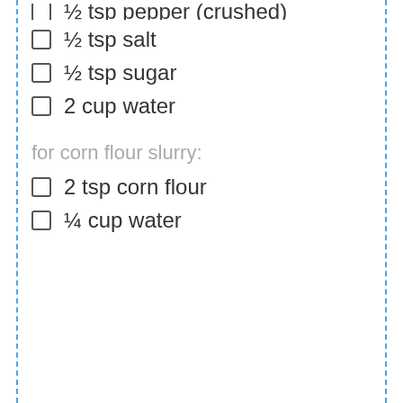½ tsp pepper (crushed)
½ tsp salt
½ tsp sugar
2 cup water
for corn flour slurry:
2 tsp corn flour
¼ cup water